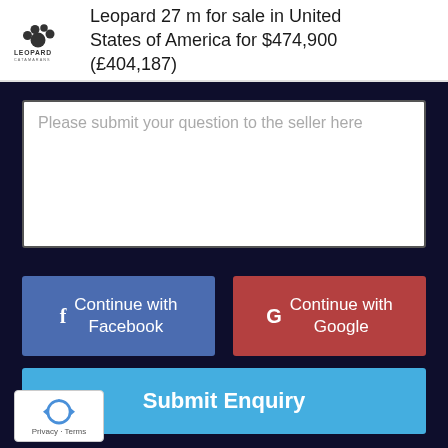[Figure (logo): Leopard Catamarans logo with paw print icon and brand name]
Leopard 27 m for sale in United States of America for $474,900 (£404,187)
Please submit your question to the seller here
Continue with Facebook
Continue with Google
Submit Enquiry
[Figure (other): reCAPTCHA badge with Privacy and Terms text]